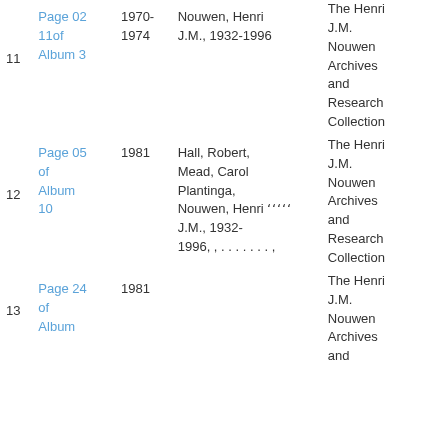| # | Page | Year | Creator | Repository |
| --- | --- | --- | --- | --- |
| 11 | Page 02 11of Album 3 | 1970-1974 | Nouwen, Henri J.M., 1932-1996 | The Henri J.M. Nouwen Archives and Research Collection |
| 12 | Page 05 of Album 10 | 1981 | Hall, Robert, Mead, Carol Plantinga, Nouwen, Henri J.M., 1932-1996, , , , , , | The Henri J.M. Nouwen Archives and Research Collection |
| 13 | Page 24 of Album | 1981 |  | The Henri J.M. Nouwen Archives and |